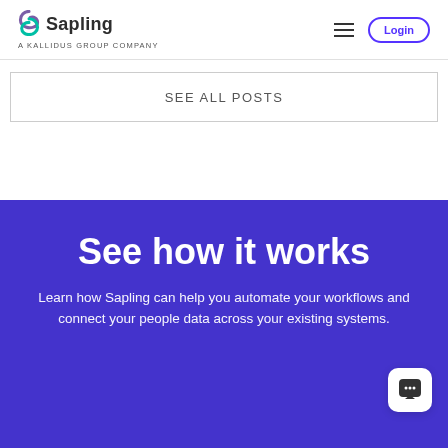[Figure (logo): Sapling logo — stylized S shape in purple and teal, with 'Sapling' text and 'a KALLIDUS GROUP company' tagline]
SEE ALL POSTS
See how it works
Learn how Sapling can help you automate your workflows and connect your people data across your existing systems.